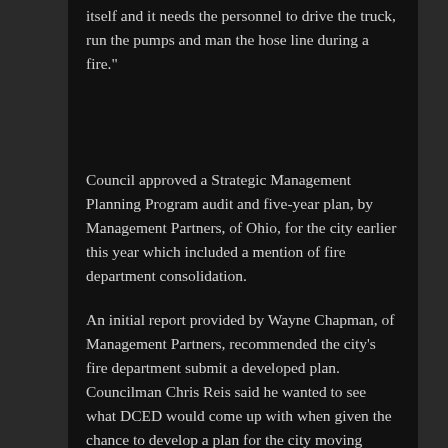itself and it needs the personnel to drive the truck, run the pumps and man the hose line during a fire."
Council approved a Strategic Management Planning Program audit and five-year plan, by Management Partners, of Ohio, for the city earlier this year which included a mention of fire department consolidation.
An initial report provided by Wayne Chapman, of Management Partners, recommended the city’s fire department submit a developed plan. Councilman Chris Reis said he wanted to see what DCED would come up with when given the chance to develop a plan for the city moving forward.